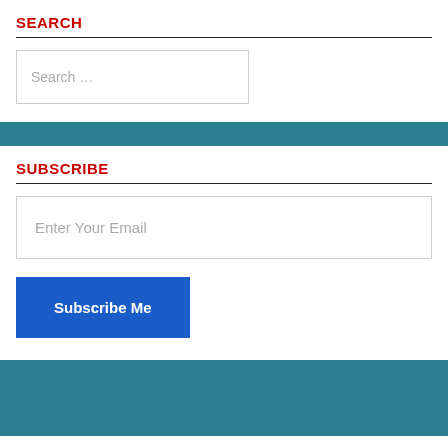SEARCH
Search …
SUBSCRIBE
Enter Your Email
Subscribe Me